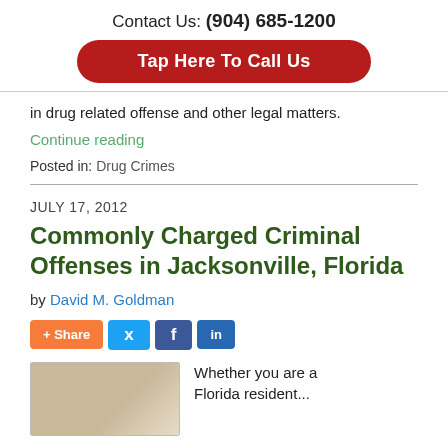Contact Us: (904) 685-1200
Tap Here To Call Us
in drug related offense and other legal matters.
Continue reading
Posted in: Drug Crimes
JULY 17, 2012
Commonly Charged Criminal Offenses in Jacksonville, Florida
by David M. Goldman
[Figure (infographic): Social sharing buttons: Share (orange), Twitter (blue bird), Facebook (blue f), LinkedIn (blue in)]
[Figure (photo): Photo of what appears to be drug-related substance]
Whether you are a Florida resident...